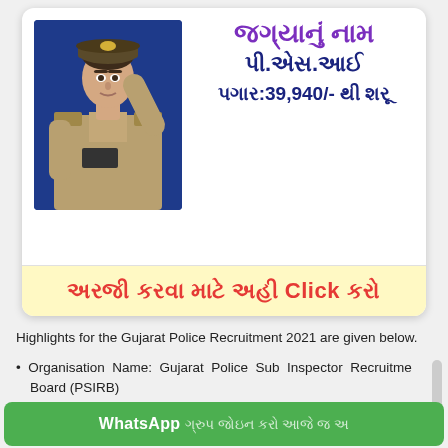[Figure (photo): Female police officer in uniform saluting, wearing khaki uniform and cap, blue background]
જ‌ગ‌્‌ય‌ા‌ન‌ુ‌ં ‌ન‌ા‌મ
પ‌ી‌.‌એ‌સ‌.‌આ‌ઈ
પ‌ગ‌ા‌ર‌:‌3‌9‌,‌9‌4‌0‌/‌-‌ ‌થ‌ી‌ ‌શ‌ર‌ૂ
અ‌ર‌જ‌ી‌ ‌ક‌ર‌વ‌ા‌ ‌મ‌ા‌ટ‌ે‌ ‌અ‌હ‌ી‌ Click ‌ક‌ર‌ો
Highlights for the Gujarat Police Recruitment 2021 are given below.
Organisation Name: Gujarat Police Sub Inspector Recruitment Board (PSIRB)
WhatsApp ગ્રુપ જોઇન કરો આ‌ ‌જ‌ ‌` ‌અ‌ ‌`